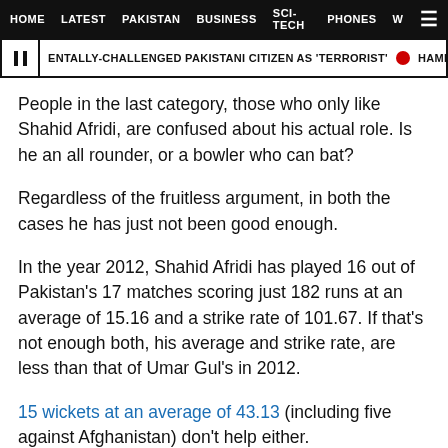HOME   LATEST   PAKISTAN   BUSINESS   SCI-TECH   PHONES   W
ENTALLY-CHALLENGED PAKISTANI CITIZEN AS 'TERRORIST'   HAMID KHAN TO REP
People in the last category, those who only like Shahid Afridi, are confused about his actual role. Is he an all rounder, or a bowler who can bat?
Regardless of the fruitless argument, in both the cases he has just not been good enough.
In the year 2012, Shahid Afridi has played 16 out of Pakistan's 17 matches scoring just 182 runs at an average of 15.16 and a strike rate of 101.67. If that's not enough both, his average and strike rate, are less than that of Umar Gul's in 2012.
15 wickets at an average of 43.13 (including five against Afghanistan) don't help either.